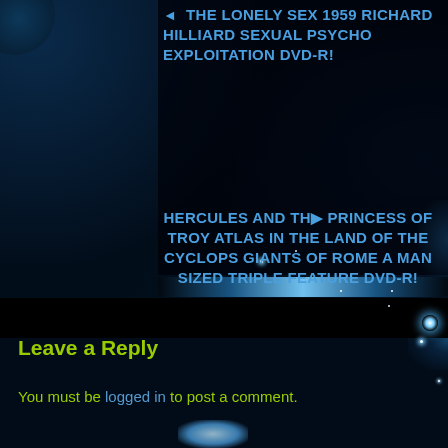◂  THE LONELY SEX 1959 RICHARD HILLIARD SEXUAL PSYCHO EXPLOITATION DVD-R!
HERCULES AND TH▸ PRINCESS OF TROY ATLAS IN THE LAND OF THE CYCLOPS GIANTS OF ROME A MAN SIZED TRIPLE FEATURE DVD-R!
[Figure (other): Dark blue website background with glowing horizontal light bar, sparkle/star decorations on dark navy background, circular glow decoration at top-left]
Leave a Reply
You must be logged in to post a comment.